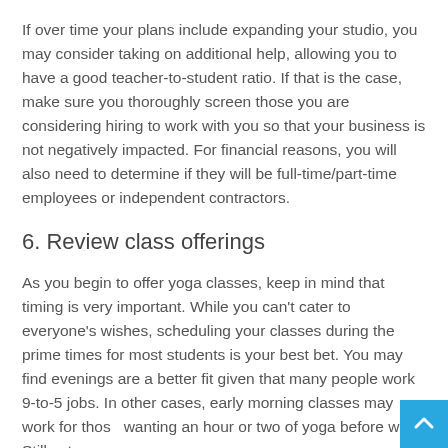If over time your plans include expanding your studio, you may consider taking on additional help, allowing you to have a good teacher-to-student ratio. If that is the case, make sure you thoroughly screen those you are considering hiring to work with you so that your business is not negatively impacted. For financial reasons, you will also need to determine if they will be full-time/part-time employees or independent contractors.
6. Review class offerings
As you begin to offer yoga classes, keep in mind that timing is very important. While you can't cater to everyone's wishes, scheduling your classes during the prime times for most students is your best bet. You may find evenings are a better fit given that many people work 9-to-5 jobs. In other cases, early morning classes may work for those wanting an hour or two of yoga before work. Still yet,